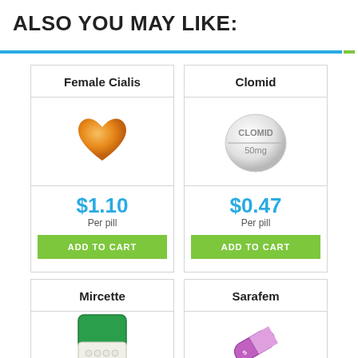ALSO YOU MAY LIKE:
[Figure (other): Decorative divider bar in blue and green]
Female Cialis
[Figure (illustration): Orange heart-shaped pill (Female Cialis)]
$1.10
Per pill
ADD TO CART
Clomid
[Figure (illustration): Round white pill labeled CLOMID 50mg]
$0.47
Per pill
ADD TO CART
Mircette
[Figure (illustration): Green pill blister pack (Mircette)]
Sarafem
[Figure (illustration): Purple and white capsule (Sarafem)]